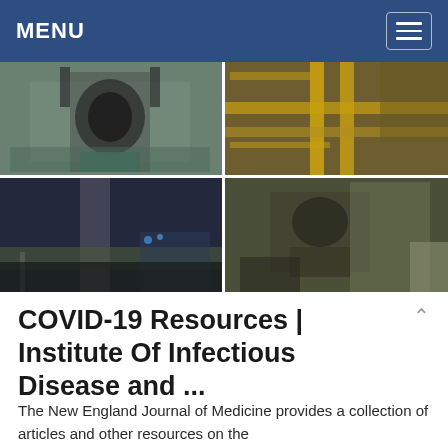MENU
[Figure (photo): Four-panel photo grid showing industrial and engineering scenes: top-left shows industrial crushing/milling machine in a factory; top-right shows yellow industrial conveyor structures; bottom-left shows a modern train station platform with pillars and blue lighting; bottom-right shows mining jaw crusher equipment outdoors.]
COVID-19 Resources | Institute Of Infectious Disease and ...
The New England Journal of Medicine provides a collection of articles and other resources on the